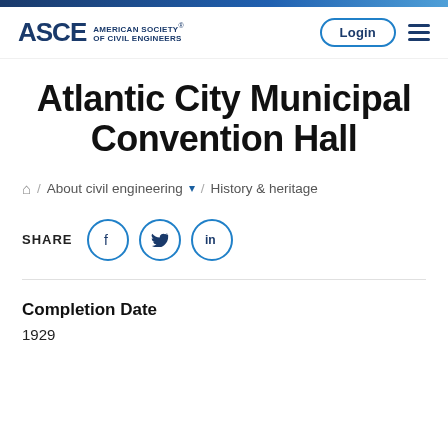ASCE American Society® of Civil Engineers | Login
Atlantic City Municipal Convention Hall
🏠 / About civil engineering ▾ / History & heritage
SHARE [Facebook] [Twitter] [LinkedIn]
Completion Date
1929